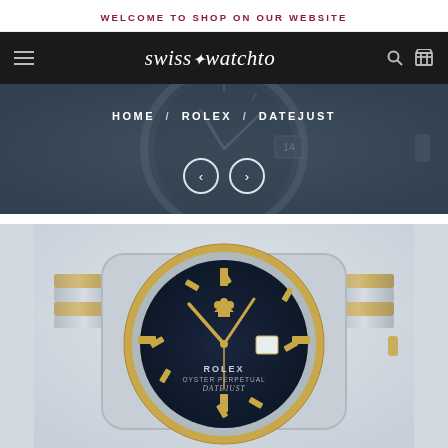WELCOME TO SHOP ON OUR WEBSITE
[Figure (logo): swisswatchto logo in white italic serif font on black navigation bar with hamburger menu, search and cart icons]
[Figure (photo): Hero banner showing close-up of a blue-dial watch face (likely Rolex Datejust) with breadcrumb navigation HOME / ROLEX / DATEJUST and left/right arrow buttons]
[Figure (photo): Large product photo of a Rolex Oyster Perpetual Datejust watch with two-tone gold and steel jubilee bracelet, blue/navy dial with gold baton hour markers and Rolex crown logo, gold bezel, on light grey background]